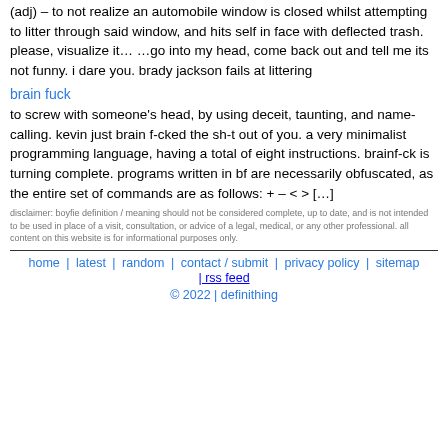(adj) – to not realize an automobile window is closed whilst attempting to litter through said window, and hits self in face with deflected trash. please, visualize it… …go into my head, come back out and tell me its not funny. i dare you. brady jackson fails at littering
brain fuck
to screw with someone's head, by using deceit, taunting, and name-calling. kevin just brain f-cked the sh-t out of you. a very minimalist programming language, having a total of eight instructions. brainf-ck is turning complete. programs written in bf are necessarily obfuscated, as the entire set of commands are as follows: + – < > […]
disclaimer: boyfie definition / meaning should not be considered complete, up to date, and is not intended to be used in place of a visit, consultation, or advice of a legal, medical, or any other professional. all content on this website is for informational purposes only.
home | latest | random | contact / submit | privacy policy | sitemap | rss feed © 2022 | definithing